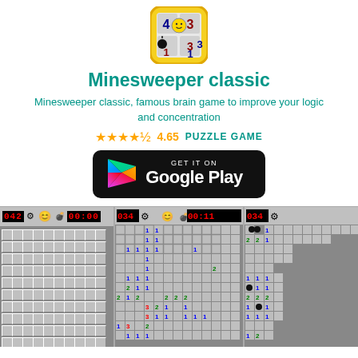[Figure (illustration): Minesweeper app icon showing a grid with numbers and a smiley face on a yellow background]
Minesweeper classic
Minesweeper classic, famous brain game to improve your logic and concentration
★★★★½ 4.65   PUZZLE GAME
[Figure (logo): GET IT ON Google Play button]
[Figure (screenshot): Three Minesweeper game screenshots showing game grids with numbers and mines]